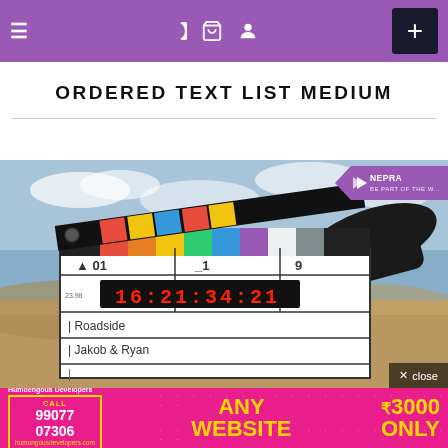Navigation bar with hamburger menu, icons (moon, cart, user), and plus button
ORDERED TEXT LIST MEDIUM
[Figure (photo): A hand holding a film clapperboard in a desert setting. The clapperboard shows: A 01 _1 9, 23.98 fps, timecode 16:21:34:21, Scene: Roadside, Director: Jakob & Ryan. A NEPRA logo badge is in the top-right corner and a close button in the bottom-right.]
[Figure (infographic): Pink advertisement banner for Humoengous Developers: CALL 99077 07306, humongousdevelopers.com. Text: ANY WEBSITE ₹3000 ONLY]